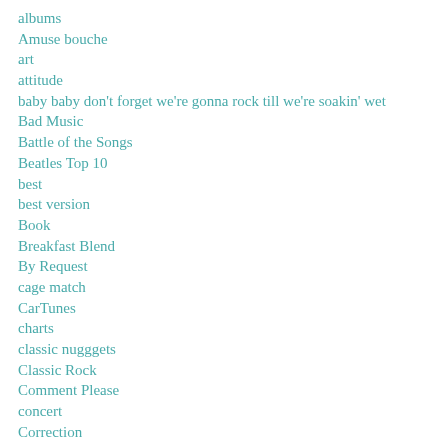albums
Amuse bouche
art
attitude
baby baby don't forget we're gonna rock till we're soakin' wet
Bad Music
Battle of the Songs
Beatles Top 10
best
best version
Book
Breakfast Blend
By Request
cage match
CarTunes
charts
classic nugggets
Classic Rock
Comment Please
concert
Correction
cover